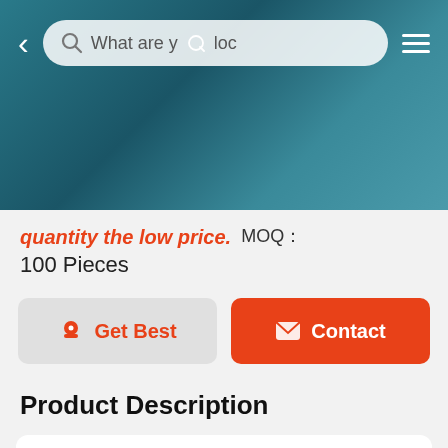[Figure (screenshot): Mobile app UI screenshot showing a search bar with 'What are you loc' text and navigation arrows on a blurred teal/dark background hero image]
quantity the low price.  MOQ： 100 Pieces
Get Best
Contact
Product Description
| Brand | OEM |
| --- | --- |